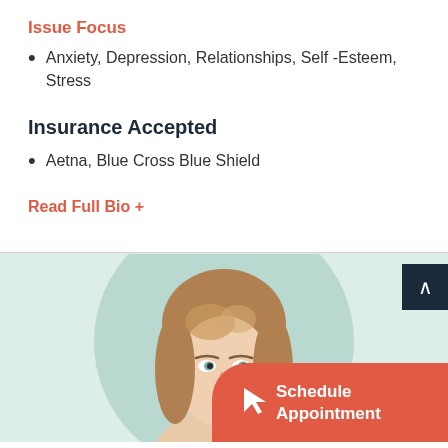Issue Focus
Anxiety, Depression, Relationships, Self -Esteem, Stress
Insurance Accepted
Aetna, Blue Cross Blue Shield
Read Full Bio +
[Figure (photo): Circular cropped portrait photo of a woman with blonde hair looking upward, on a light teal/mint background]